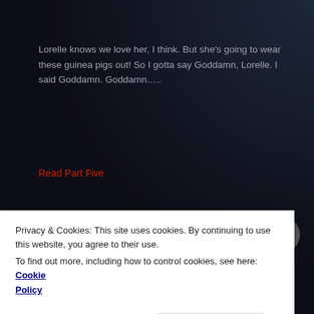Lorelle knows we love her, I think. But she's going to wear these guinea pigs out! So I gotta say Goddamn, Lorelle. I said Goddamn. Goddamn…..
Read Part Five
Posted in stories | Tagged blog, clark college, class, college, guinea pig, hercules, lorelle, pusher, steppenwolf, wordpress, writing | 9 Replies
Wherein Your Humble
Privacy & Cookies: This site uses cookies. By continuing to use this website, you agree to their use.
To find out more, including how to control cookies, see here: Cookie Policy